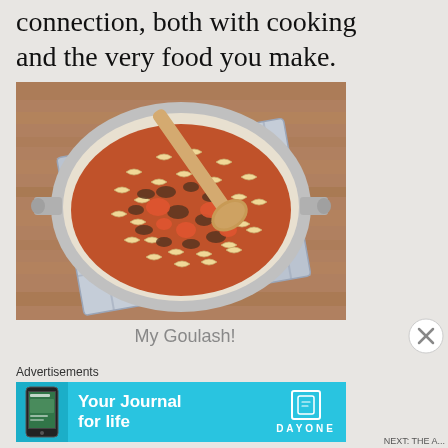connection, both with cooking and the very food you make.
[Figure (photo): Overhead photo of a bowl of goulash (macaroni pasta with ground meat and tomato sauce) with a wooden spoon, placed on a blue-grey checkered kitchen towel on a wooden table.]
My Goulash!
Advertisements
[Figure (screenshot): Advertisement banner for Day One journal app with blue background. Shows phone image on left, bold white text 'Your Journal for life' in center, and Day One logo on right with book icon and the text DAYONE.]